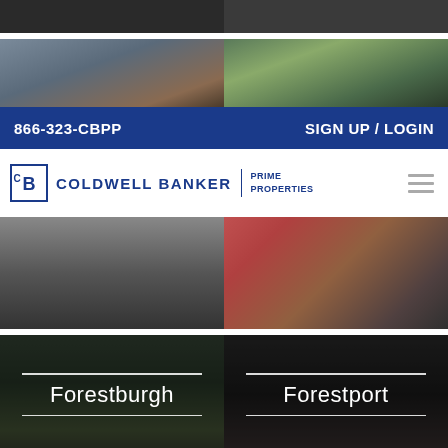[Figure (photo): Top partial view of two property photos cropped at top of page]
[Figure (photo): Second row: two property photos - left shows wooden deck/exterior, right shows green outdoor area]
866-323-CBPP
SIGN UP / LOGIN
[Figure (logo): Coldwell Banker Prime Properties logo with CB icon]
[Figure (photo): Middle row: left shows house exterior, right shows colorful outdoor cushions/decor]
[Figure (photo): Forestburgh location panel with house and American flag, overlay text: Forestburgh]
[Figure (photo): Forestport location panel with interior room photo, overlay text: Forestport]